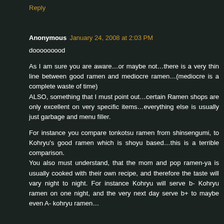Reply
Anonymous January 24, 2008 at 2:03 PM
dooooooood

As I am sure you are aware…or maybe not…there is a very thin line between good ramen and mediocre ramen…(mediocre is a complete waste of time)
ALSO, something that I must point out…certain Ramen shops are only excellent on very specific items…everything else is usually just garbage and menu filler.

For instance you compare tonkotsu ramen from shinsengumi, to Kohryu's good ramen which is shoyu based…this is a terrible comparison.
You also must understand, that the mom and pop ramen-ya is usually cooked with their own recipe, and therefore the taste will vary night to night. For instance Kohryu will serve b- Kohryu ramen on one night, and the very next day serve b+ to maybe even A- kohryu ramen…